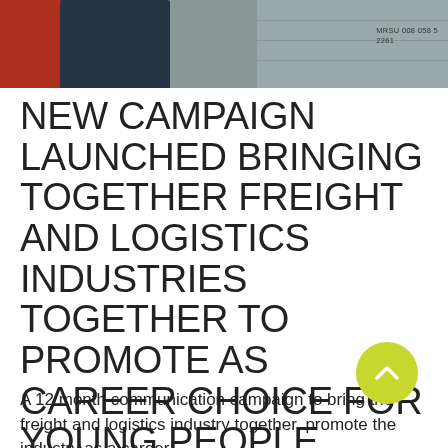[Figure (photo): Photo of a person standing in front of freight shipping containers, including red and grey containers. A container label reading 'MRSU 008 058 5 2261' is visible on the right.]
NEW CAMPAIGN LAUNCHED BRINGING TOGETHER FREIGHT AND LOGISTICS INDUSTRIES TOGETHER TO PROMOTE AS CAREER CHOICE FOR YOUNG PEOPLE
A 12 month communication campaign to bring the freight and logistics industry together, promote the industry as a career